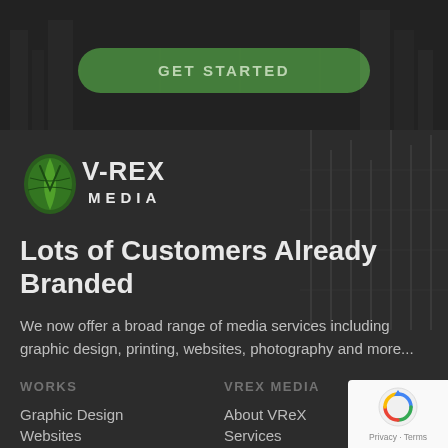[Figure (other): Green rounded button with text GET STARTED on dark background]
[Figure (logo): V-Rex Media logo with green leaf and stylized text]
Lots of Customers Already Branded
We now offer a broad range of media services including graphic design, printing, websites, photography and more...
WORKS
Graphic Design
Websites
VREX MEDIA
About VReX
Services
[Figure (other): Google reCAPTCHA badge with Privacy and Terms links]